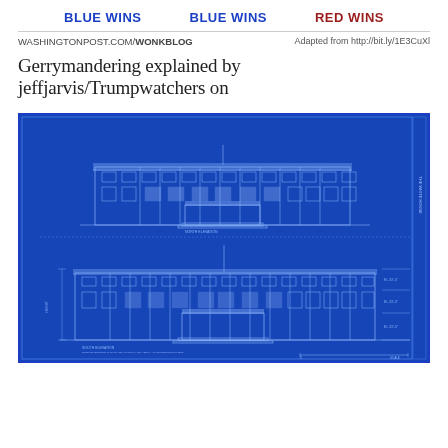BLUE WINS   BLUE WINS   RED WINS
WASHINGTONPOST.COM/WONKBLOG   Adapted from http://bit.ly/1E3CuXl
Gerrymandering explained by jeffjarvis/Trumpwatchers on
[Figure (engineering-diagram): Blueprint-style architectural drawing of The White House South Elevation on a blue background, showing two elevation views of the building with detailed facade, columns, windows, and technical annotations.]